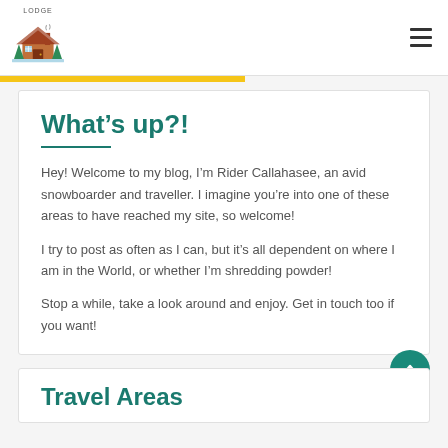Lodge logo and navigation hamburger menu
What’s up?!
Hey! Welcome to my blog, I’m Rider Callahasee, an avid snowboarder and traveller. I imagine you’re into one of these areas to have reached my site, so welcome!
I try to post as often as I can, but it’s all dependent on where I am in the World, or whether I’m shredding powder!
Stop a while, take a look around and enjoy. Get in touch too if you want!
Travel Areas